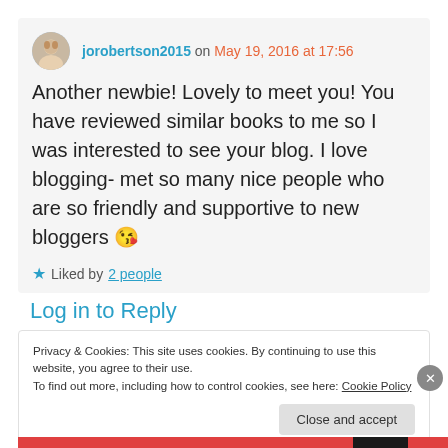jorobertson2015 on May 19, 2016 at 17:56
Another newbie! Lovely to meet you! You have reviewed similar books to me so I was interested to see your blog. I love blogging- met so many nice people who are so friendly and supportive to new bloggers 😘
★ Liked by 2 people
Log in to Reply
Privacy & Cookies: This site uses cookies. By continuing to use this website, you agree to their use.
To find out more, including how to control cookies, see here: Cookie Policy